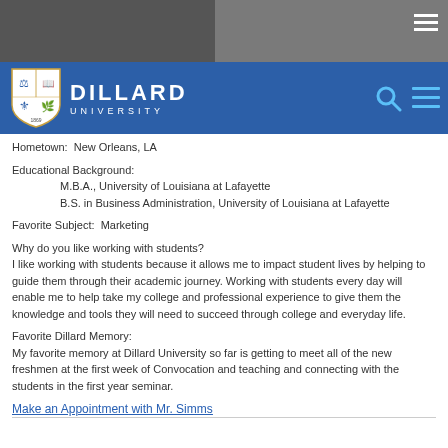[Figure (logo): Dillard University logo with shield and text on blue navigation bar]
Hometown:  New Orleans, LA
Educational Background:
	M.B.A., University of Louisiana at Lafayette
	B.S. in Business Administration, University of Louisiana at Lafayette
Favorite Subject:  Marketing
Why do you like working with students?
I like working with students because it allows me to impact student lives by helping to guide them through their academic journey. Working with students every day will enable me to help take my college and professional experience to give them the knowledge and tools they will need to succeed through college and everyday life.
Favorite Dillard Memory:
My favorite memory at Dillard University so far is getting to meet all of the new freshmen at the first week of Convocation and teaching and connecting with the students in the first year seminar.
Make an Appointment with Mr. Simms